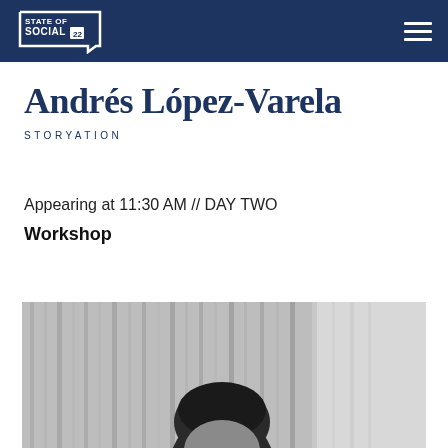STATE OF SOCIAL 22
Andrés López-Varela
STORYATION
Appearing at 11:30 AM // DAY TWO
Workshop
[Figure (photo): Black and white portrait photo of Andrés López-Varela, showing the top of his head with dark hair against a backdrop of vertical curtain-like lines]